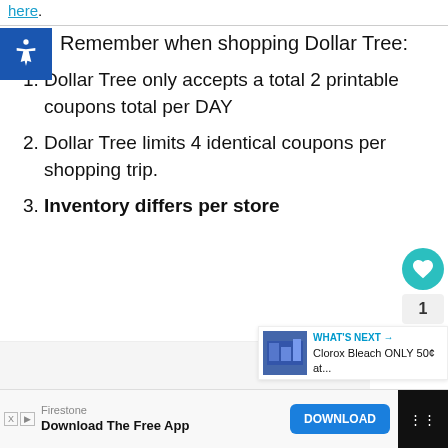here.
Remember when shopping Dollar Tree:
Dollar Tree only accepts a total 2 printable coupons total per DAY
Dollar Tree limits 4 identical coupons per shopping trip.
Inventory differs per store